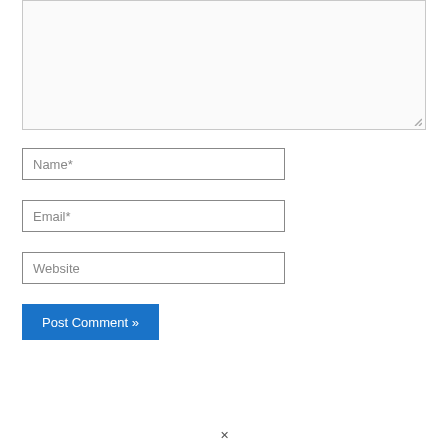[Figure (screenshot): Comment form textarea (empty, resizable)]
Name*
Email*
Website
Post Comment »